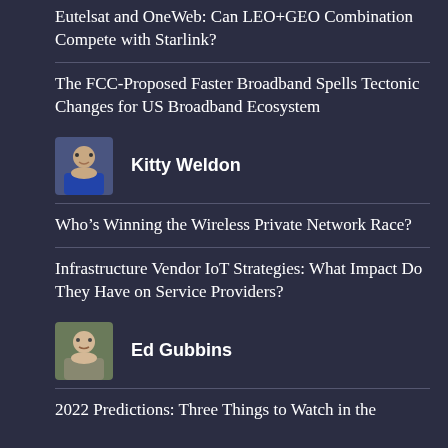Eutelsat and OneWeb: Can LEO+GEO Combination Compete with Starlink?
The FCC-Proposed Faster Broadband Spells Tectonic Changes for US Broadband Ecosystem
Kitty Weldon
Who’s Winning the Wireless Private Network Race?
Infrastructure Vendor IoT Strategies: What Impact Do They Have on Service Providers?
Ed Gubbins
2022 Predictions: Three Things to Watch in the Multiservice Space This Year